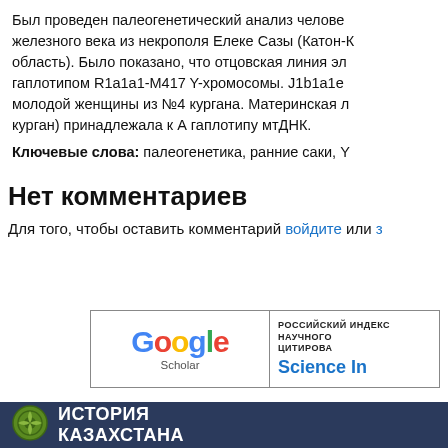Был проведен палеогенетический анализ челове- железного века из некрополя Елеке Сазы (Катон-К- область). Было показано, что отцовская линия эл- гаплотипом R1a1a1-M417 Y-хромосомы. J1b1a1e молодой женщины из №4 кургана. Материнская л- курган) принадлежала к А гаплотипу мтДНК.
Ключевые слова: палеогенетика, ранние саки, Y
Нет комментариев
Для того, чтобы оставить комментарий войдите или з
[Figure (logo): Google Scholar badge logo]
[Figure (logo): Российский индекс научного цитирования Science Index badge]
[Figure (logo): История Казахстана footer logo with circular green emblem]